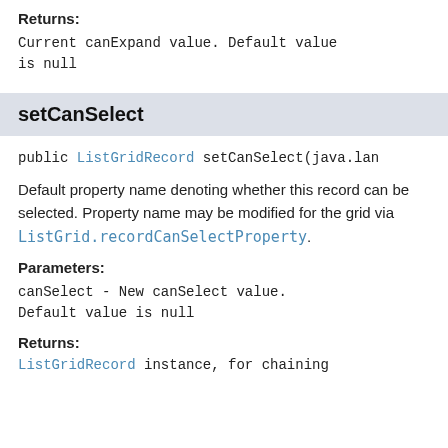Returns:
Current canExpand value. Default value is null
setCanSelect
public ListGridRecord setCanSelect(java.lan
Default property name denoting whether this record can be selected. Property name may be modified for the grid via ListGrid.recordCanSelectProperty.
Parameters:
canSelect - New canSelect value. Default value is null
Returns:
ListGridRecord instance, for chaining